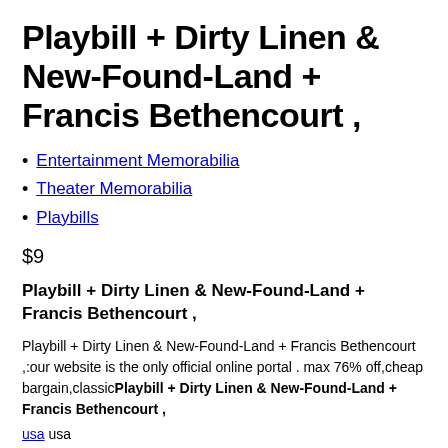Playbill + Dirty Linen & New-Found-Land + Francis Bethencourt ,
Entertainment Memorabilia
Theater Memorabilia
Playbills
$9
Playbill + Dirty Linen & New-Found-Land + Francis Bethencourt ,
Playbill + Dirty Linen & New-Found-Land + Francis Bethencourt ,:our website is the only official online portal . max 76% off,cheap bargain,classicPlaybill + Dirty Linen & New-Found-Land + Francis Bethencourt ,
usa usa
Free shipping to EU & USA